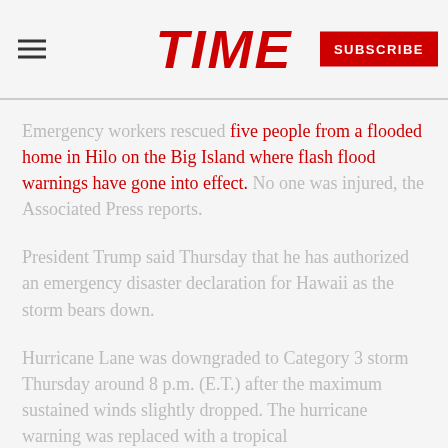TIME | SUBSCRIBE
Emergency workers rescued five people from a flooded home in Hilo on the Big Island where flash flood warnings have gone into effect. No one was injured, the Associated Press reports.
President Trump said Thursday that he has authorized an emergency disaster declaration for Hawaii as the storm bears down.
Hurricane Lane was downgraded to Category 3 storm Thursday around 8 p.m. (E.T.) after the maximum sustained winds slightly dropped. The hurricane warning was replaced with a tropical...